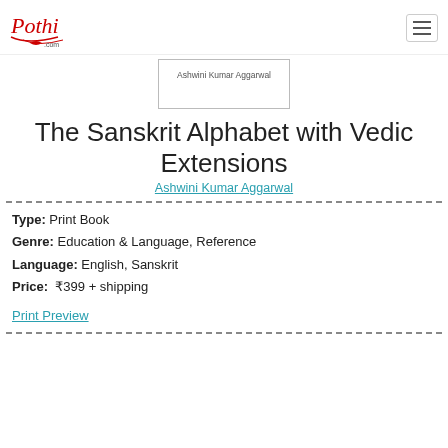Pothi.com
[Figure (other): Book cover thumbnail showing author name Ashwini Kumar Aggarwal]
The Sanskrit Alphabet with Vedic Extensions
Ashwini Kumar Aggarwal
Type: Print Book
Genre: Education & Language, Reference
Language: English, Sanskrit
Price: ₹399 + shipping
Print Preview